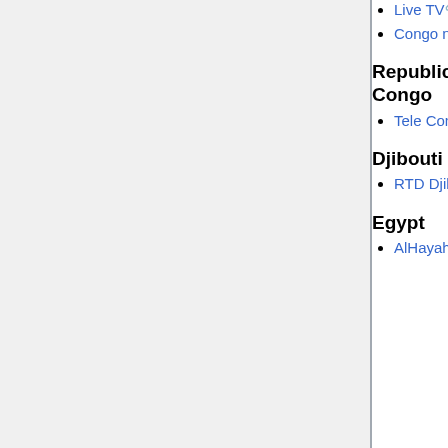Live TV
Congo na Congo TV
Republic of the Congo
Tele Congo
Djibouti
RTD Djibouti
Egypt
AlHayah TV
2MTV
Al Aoula TV
Mozambique
Miramar
Televisão de Moçambique
TV Sucesso Moz
Namibia
Namibian Broadcasting Corporation
One Africa
Omulunga TV Online
ITV Tanzania
Togo
Televison Togolaise
New World Tv les débats
Tunisia
Attessia TV
Elhiwar Ettounsi
Watania Replay